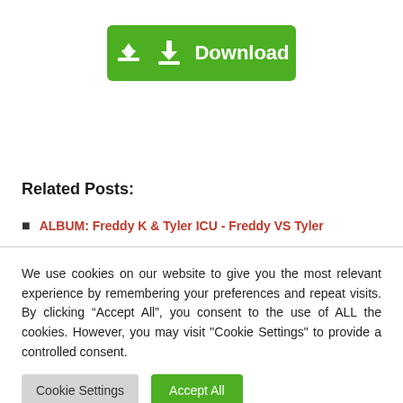[Figure (other): Green download button with download icon and text 'Download']
Related Posts:
ALBUM: Freddy K & Tyler ICU - Freddy VS Tyler
We use cookies on our website to give you the most relevant experience by remembering your preferences and repeat visits. By clicking “Accept All”, you consent to the use of ALL the cookies. However, you may visit "Cookie Settings" to provide a controlled consent.
Cookie Settings   Accept All